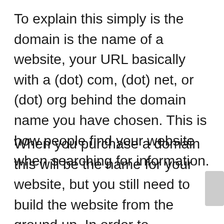To explain this simply is the domain is the name of a website, your URL basically with a (dot) com, (dot) net, or (dot) org behind the domain name you have chosen. This is how people find your website when searching for information.
When you purchase a domain this will be the name for your website, but you still need to build the website from the ground up. In order to accomplish this, there is plenty more you must